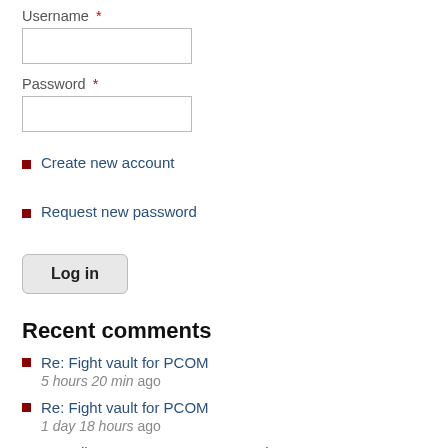Username *
Password *
Create new account
Request new password
Log in
Recent comments
Re: Fight vault for PCOM
5 hours 20 min ago
Re: Fight vault for PCOM
1 day 18 hours ago
Re: Milan Prat vs Francesco Lezzi